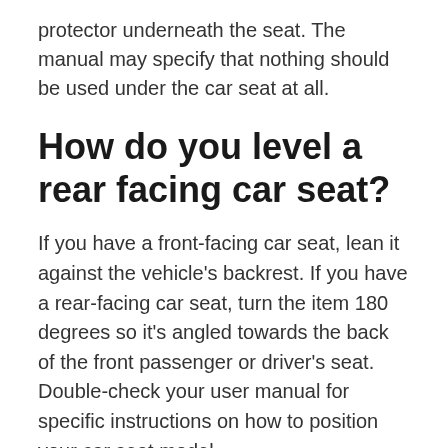protector underneath the seat. The manual may specify that nothing should be used under the car seat at all.
How do you level a rear facing car seat?
If you have a front-facing car seat, lean it against the vehicle's backrest. If you have a rear-facing car seat, turn the item 180 degrees so it's angled towards the back of the front passenger or driver's seat. Double-check your user manual for specific instructions on how to position your car seat model.
Auto Service